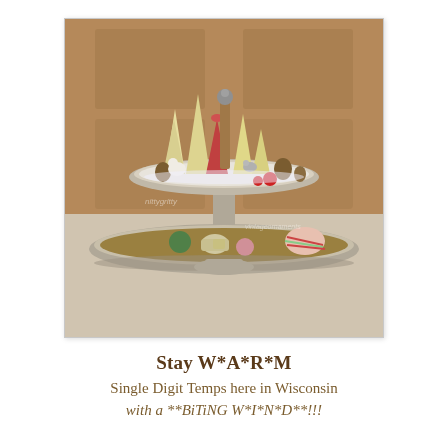[Figure (photo): A two-tiered silver tray display with bottle-brush Christmas trees (cream and red), pine cones, miniature deer figurines, red ornament balls, and vintage ornaments on the lower tray, set against a rustic wooden background.]
Stay W*A*R*M
Single Digit Temps here in Wisconsin with a **BiTiNG W*I*N*D**!!!